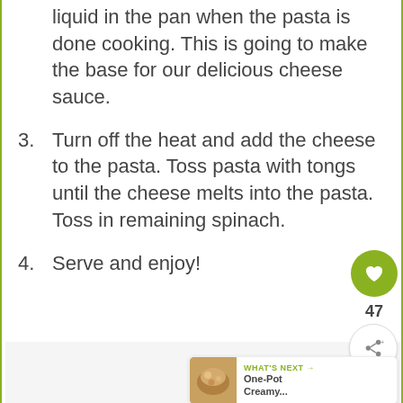the pot. You will still have some liquid in the pan when the pasta is done cooking. This is going to make the base for our delicious cheese sauce.
3. Turn off the heat and add the cheese to the pasta. Toss pasta with tongs until the cheese melts into the pasta. Toss in remaining spinach.
4. Serve and enjoy!
[Figure (infographic): Heart/love button (green circle with heart icon), count 47, share button, and a 'What's Next' banner showing 'One-Pot Creamy...' with a food thumbnail.]